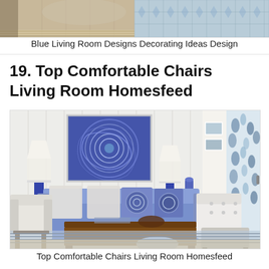[Figure (photo): Partial view of a blue and white living room with upholstered chairs and a decorative rug, cropped at top]
Blue Living Room Designs Decorating Ideas Design
19. Top Comfortable Chairs Living Room Homesfeed
[Figure (photo): Living room with blue sofa, decorative pillows, wooden coffee table, white tufted chair with ottoman, blue framed artwork on wall, two blue table lamps, and blue and white floral curtains on the right]
Top Comfortable Chairs Living Room Homesfeed
20. Blue Living Room Ideas